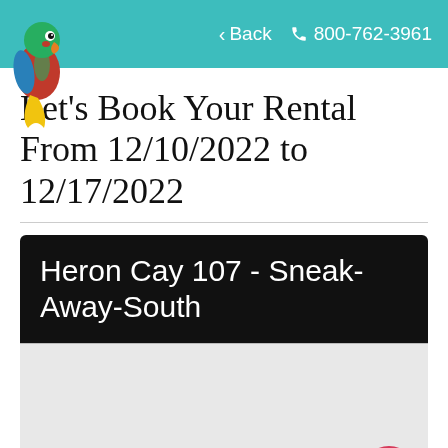Back   800-762-3961
[Figure (logo): Colorful parrot illustration logo in top-left corner]
Let's Book Your Rental From 12/10/2022 to 12/17/2022
Heron Cay 107 - Sneak-Away-South
[Figure (photo): Light gray image placeholder area for property photo]